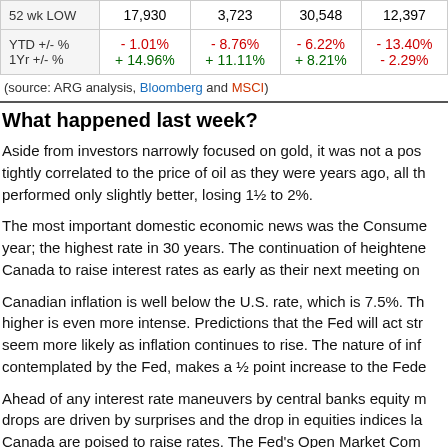|  | Col1 | Col2 | Col3 | Col4 |
| --- | --- | --- | --- | --- |
| 52 wk LOW | 17,930 | 3,723 | 30,548 | 12,397 |
| YTD +/- %
1Yr +/- % | - 1.01%
+ 14.96% | - 8.76%
+ 11.11% | - 6.22%
+ 8.21% | - 13.40%
- 2.29% |
(source: ARG analysis, Bloomberg and MSCI)
What happened last week?
Aside from investors narrowly focused on gold, it was not a pos tightly correlated to the price of oil as they were years ago, all th performed only slightly better, losing 1½ to 2%.
The most important domestic economic news was the Consume year; the highest rate in 30 years. The continuation of heightene Canada to raise interest rates as early as their next meeting on
Canadian inflation is well below the U.S. rate, which is 7.5%. Th higher is even more intense. Predictions that the Fed will act str seem more likely as inflation continues to rise. The nature of inf contemplated by the Fed, makes a ½ point increase to the Fede
Ahead of any interest rate maneuvers by central banks equity m drops are driven by surprises and the drop in equities indices la Canada are poised to raise rates. The Fed's Open Market Com